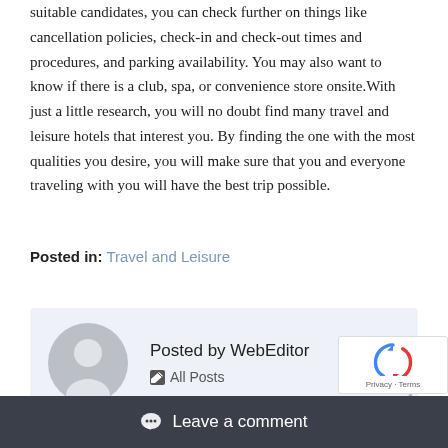suitable candidates, you can check further on things like cancellation policies, check-in and check-out times and procedures, and parking availability. You may also want to know if there is a club, spa, or convenience store onsite. With just a little research, you will no doubt find many travel and leisure hotels that interest you. By finding the one with the most qualities you desire, you will make sure that you and everyone traveling with you will have the best trip possible.
Posted in: Travel and Leisure
[Figure (other): Author box with avatar placeholder and 'Posted by WebEditor' with 'All Posts' link]
Leave a comment